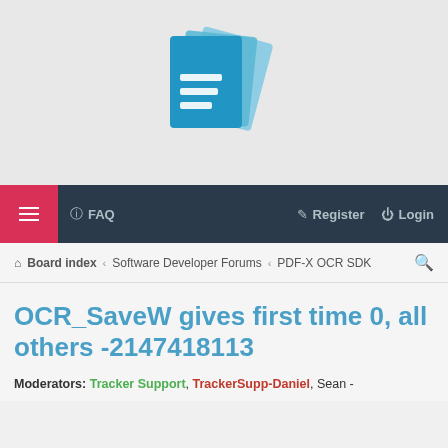[Figure (logo): Software forum logo with blue stylized document pages icon on grey background]
≡   FAQ   Register   Login
Board index · Software Developer Forums · PDF-X OCR SDK
OCR_SaveW gives first time 0, all others -2147418113
Moderators: Tracker Support, TrackerSupp-Daniel, Sean -